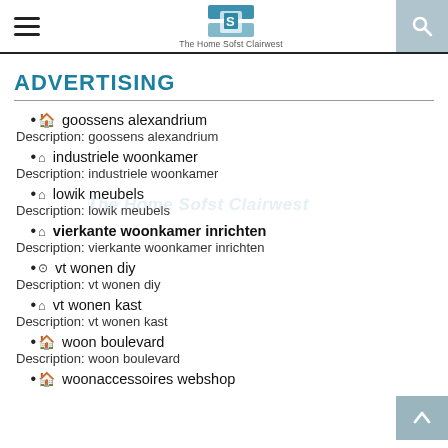The Home Sofst Clairwest – navigation header with logo, hamburger menu and search icon
ADVERTISING
🏠 goossens alexandrium
Description: goossens alexandrium
⌂ industriele woonkamer
Description: industriele woonkamer
⌂ lowik meubels
Description: lowik meubels
⌂ vierkante woonkamer inrichten
Description: vierkante woonkamer inrichten
⊙ vt wonen diy
Description: vt wonen diy
⌂ vt wonen kast
Description: vt wonen kast
🏠 woon boulevard
Description: woon boulevard
🏠 woonaccessoires webshop